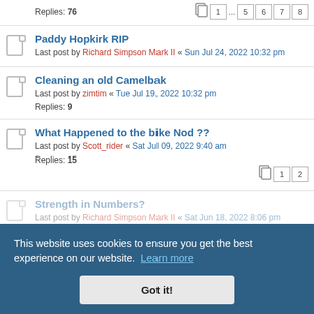Replies: 76 [pagination: 1 ... 5 6 7 8]
Paddy Hopkirk RIP
Last post by Richard Simpson Mark II « Sun Jul 24, 2022 10:32 pm
Cleaning an old Camelbak
Last post by zimtim « Tue Jul 19, 2022 10:32 pm
Replies: 9
What Happened to the bike Nod ??
Last post by Scott_rider « Sat Jul 09, 2022 9:40 am
Replies: 15 [pagination: 1 2]
Strength in Numbers?
Last post by Richard Simpson Mark II « Sat Jun 18, 2022 8:06 pm
Replies: 47
This website uses cookies to ensure you get the best experience on our website. Learn more
Got it!